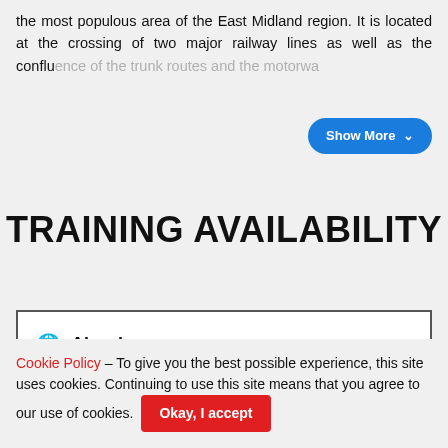the most populous area of the East Midland region. It is located at the crossing of two major railway lines as well as the confluence of the trunk routes and the motorwa[y…]
TRAINING AVAILABILITY
🌐 Aberdeen
Cookie Policy – To give you the best possible experience, this site uses cookies. Continuing to use this site means that you agree to our use of cookies.